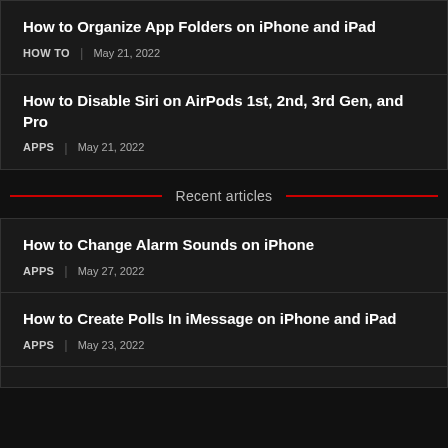How to Organize App Folders on iPhone and iPad
HOW TO | May 21, 2022
How to Disable Siri on AirPods 1st, 2nd, 3rd Gen, and Pro
APPS | May 21, 2022
Recent articles
How to Change Alarm Sounds on iPhone
APPS | May 27, 2022
How to Create Polls In iMessage on iPhone and iPad
APPS | May 23, 2022